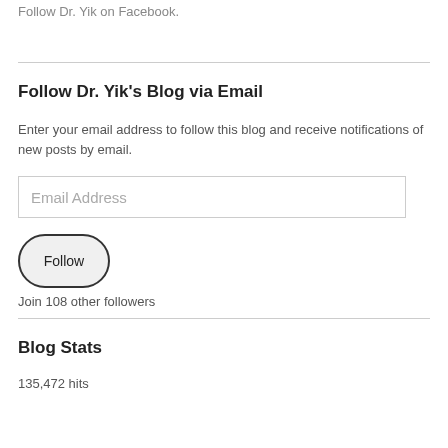Follow Dr. Yik on Facebook.
Follow Dr. Yik's Blog via Email
Enter your email address to follow this blog and receive notifications of new posts by email.
Join 108 other followers
Blog Stats
135,472 hits